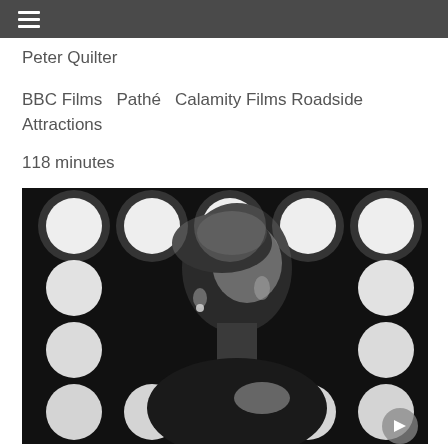≡
Peter Quilter
BBC Films  Pathé  Calamity Films Roadside Attractions
118 minutes
[Figure (photo): Black and white photo of a woman with short hair looking upward with stage lights (large round bokeh circles) in the background. She is wearing a dark top and holding her hand to her chest.]